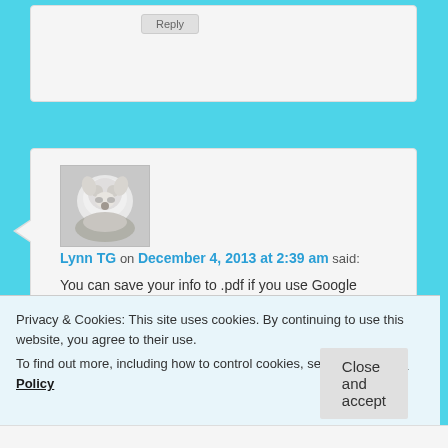[Figure (screenshot): Top of a partially cropped comment box with a Reply button visible]
[Figure (photo): Avatar photo of a fluffy white dog with a collar]
Lynn TG on December 4, 2013 at 2:39 am said:
You can save your info to .pdf if you use Google Chrome browser as well – just Ctrl-P, then select PDF and click save, save to whatever file you like.
Loading...
Privacy & Cookies: This site uses cookies. By continuing to use this website, you agree to their use.
To find out more, including how to control cookies, see here: Cookie Policy
Close and accept